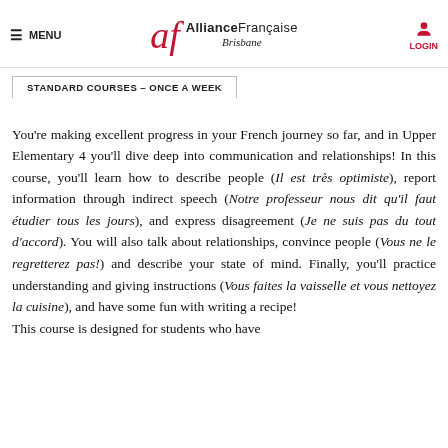MENU | Alliance Française Brisbane | LOGIN
STANDARD COURSES – ONCE A WEEK
You're making excellent progress in your French journey so far, and in Upper Elementary 4 you'll dive deep into communication and relationships! In this course, you'll learn how to describe people (Il est très optimiste), report information through indirect speech (Notre professeur nous dit qu'il faut étudier tous les jours), and express disagreement (Je ne suis pas du tout d'accord). You will also talk about relationships, convince people (Vous ne le regretterez pas!) and describe your state of mind. Finally, you'll practice understanding and giving instructions (Vous faites la vaisselle et vous nettoyez la cuisine), and have some fun with writing a recipe!
This course is designed for students who have
This course is designed for students who have